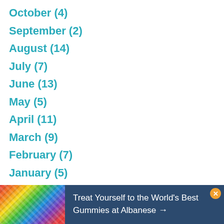October (4)
September (2)
August (14)
July (7)
June (13)
May (5)
April (11)
March (9)
February (7)
January (5)
2015 (149)
December (6)
November (9)
[Figure (other): Advertisement banner: colorful gummy candy image on left, dark blue background with text 'Treat Yourself to the World's Best Gummies at Albanese →', close button top right]